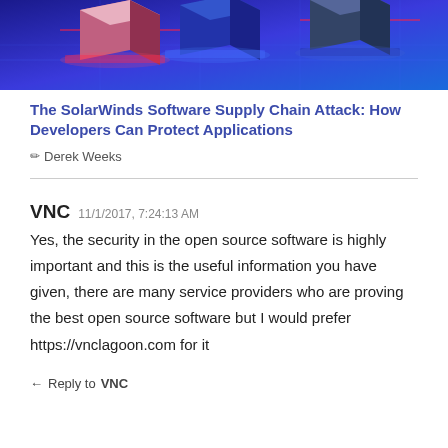[Figure (photo): Article header image showing 3D rendered boxes and packages on a blue glowing circuit board surface, suggesting software supply chain or logistics technology theme.]
The SolarWinds Software Supply Chain Attack: How Developers Can Protect Applications
Derek Weeks
VNC 11/1/2017, 7:24:13 AM
Yes, the security in the open source software is highly important and this is the useful information you have given, there are many service providers who are proving the best open source software but I would prefer https://vnclagoon.com for it
Reply to VNC